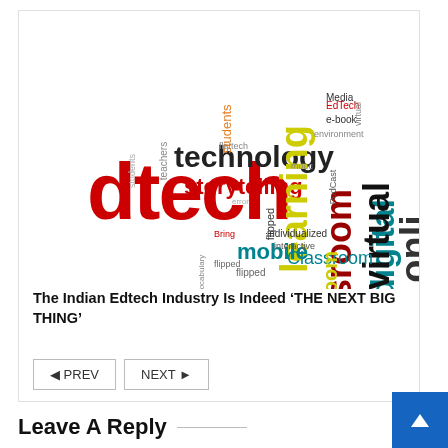[Figure (illustration): Word cloud image featuring education technology related words: dtech (large red), technology, storytelling, learning, digital, classroom, virtual, online, mobile, Classroom, individualized, interactive, mobile, EdTech, e-book, Media, environment, students, flipped, etc. in various colors and sizes.]
The Indian Edtech Industry Is Indeed ‘THE NEXT BIG THING’
◄ PREV   NEXT ►
Leave A Reply